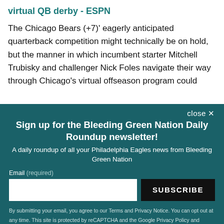virtual QB derby - ESPN
The Chicago Bears (+7)' eagerly anticipated quarterback competition might technically be on hold, but the manner in which incumbent starter Mitchell Trubisky and challenger Nick Foles navigate their way through Chicago's virtual offseason program could
close ✕
Sign up for the Bleeding Green Nation Daily Roundup newsletter!
A daily roundup of all your Philadelphia Eagles news from Bleeding Green Nation
Email (required)
SUBSCRIBE
By submitting your email, you agree to our Terms and Privacy Notice. You can opt out at any time. This site is protected by reCAPTCHA and the Google Privacy Policy and Terms of Service apply.